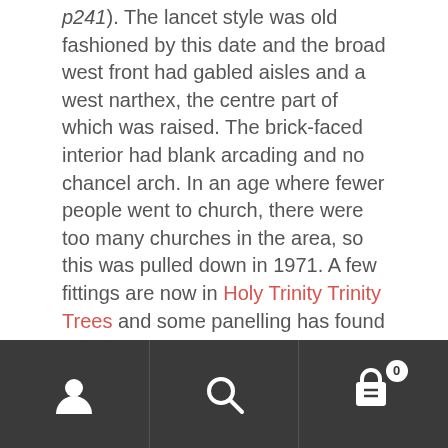p241). The lancet style was old fashioned by this date and the broad west front had gabled aisles and a west narthex, the centre part of which was raised. The brick-faced interior had blank arcading and no chancel arch. In an age where fewer people went to church, there were too many churches in the area, so this was pulled down in 1971. A few fittings are now in Holy Trinity Trinity Trees and some panelling has found its way to the church of St Mary Magdalene at Winton, Lancashire (BE Lancashire: Manchester and the South East p681).
Fittings (Formerly)
[Figure (screenshot): Mobile app navigation bar with three icons: user/profile icon, search icon, and shopping basket icon with badge showing 0]